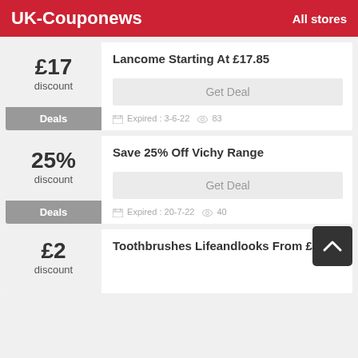UK-Couponews   All stores
£17 discount — Lancome Starting At £17.85 — Deals — Expired: 3-6-22 — 83 views
25% discount — Save 25% Off Vichy Range — Deals — Expired: 20-7-22 — 40 views
£2 discount — Toothbrushes Lifeandlooks From £2.00